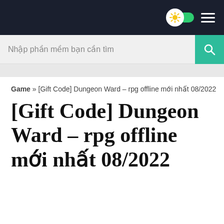Nhập phần mềm bạn cần tìm
Game » [Gift Code] Dungeon Ward – rpg offline mới nhất 08/2022
[Gift Code] Dungeon Ward – rpg offline mới nhất 08/2022